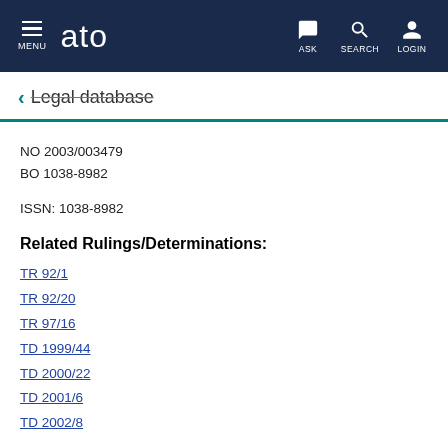MENU | ato | ASK | SEARCH | LOGIN
← Legal database
NO 2003/003479
BO 1038-8982

ISSN: 1038-8982
Related Rulings/Determinations:
TR 92/1
TR 92/20
TR 97/16
TD 1999/44
TD 2000/22
TD 2001/6
TD 2002/8